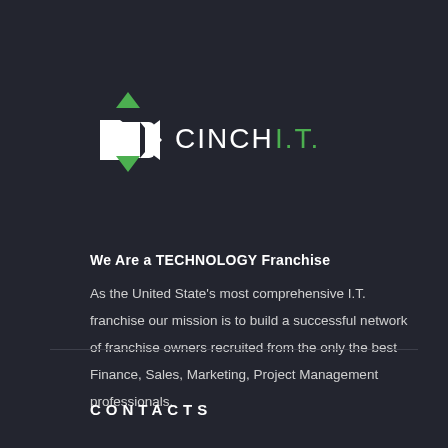[Figure (logo): Cinch I.T. logo — a white hexagonal camera/arrow icon with green diamond top and bottom, followed by the text 'CINCH' in white and 'I.T.' in green]
We Are a TECHNOLOGY Franchise
As the United State's most comprehensive I.T. franchise our mission is to build a successful network of franchise owners recruited from the only the best Finance, Sales, Marketing, Project Management professionals.
CONTACTS